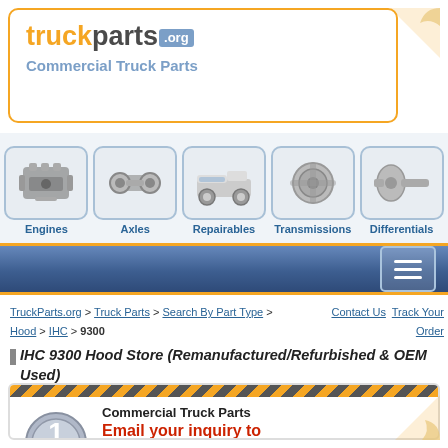[Figure (logo): TruckParts.org logo with orange 'truck', dark 'parts', blue '.org' badge, and subtitle 'Commercial Truck Parts' in blue]
[Figure (infographic): Five category icons: Engines (engine photo), Axles (axle photo), Repairables (truck photo), Transmissions (transmission photo), Differentials (differential photo)]
[Figure (screenshot): Blue navigation bar with hamburger menu button]
TruckParts.org > Truck Parts > Search By Part Type > Hood > IHC > 9300
Contact Us  Track Your Order
IHC 9300 Hood Store (Remanufactured/Refurbished & OEM Used)
[Figure (infographic): Product listing card with hazard stripe header, 'Best in the industry #1' badge, company name, email CTA and address]
Commercial Truck Parts
Email your inquiry to
sales@truckparts.org